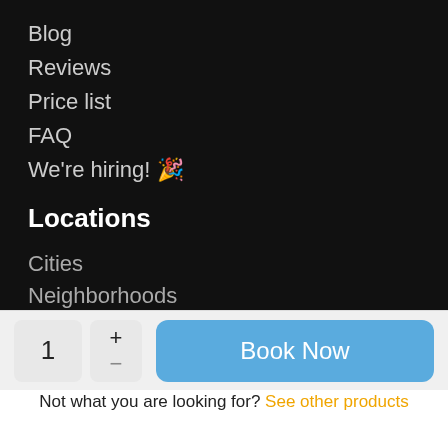Blog
Reviews
Price list
FAQ
We're hiring! 🎉
Locations
Cities
Neighborhoods
1
+ −
Book Now
Not what you are looking for? See other products